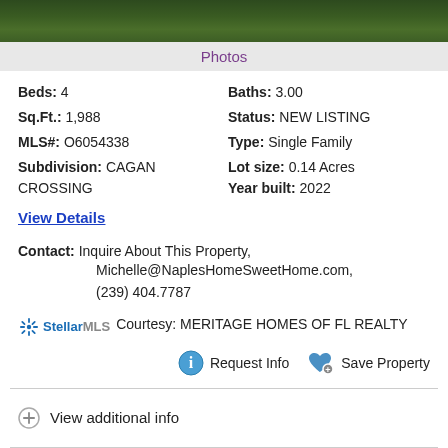[Figure (photo): Aerial or outdoor photo showing green grass/lawn, partially visible at top of page]
Photos
Beds: 4
Baths: 3.00
Sq.Ft.: 1,988
Status: NEW LISTING
MLS#: O6054338
Type: Single Family
Subdivision: CAGAN CROSSING
Lot size: 0.14 Acres
Year built: 2022
View Details
Contact: Inquire About This Property, Michelle@NaplesHomeSweetHome.com, (239) 404.7787
StellarMLS Courtesy: MERITAGE HOMES OF FL REALTY
Request Info   Save Property
View additional info
$464,285